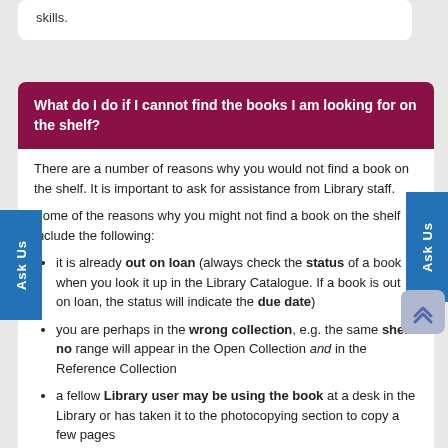skills.
What do I do if I cannot find the books I am looking for on the shelf?
There are a number of reasons why you would not find a book on the shelf. It is important to ask for assistance from Library staff.
Some of the reasons why you might not find a book on the shelf include the following:
it is already out on loan (always check the status of a book when you look it up in the Library Catalogue. If a book is out on loan, the status will indicate the due date)
you are perhaps in the wrong collection, e.g. the same shelf no range will appear in the Open Collection and in the Reference Collection
a fellow Library user may be using the book at a desk in the Library or has taken it to the photocopying section to copy a few pages
the book may be waiting to be re-shelved after being returned